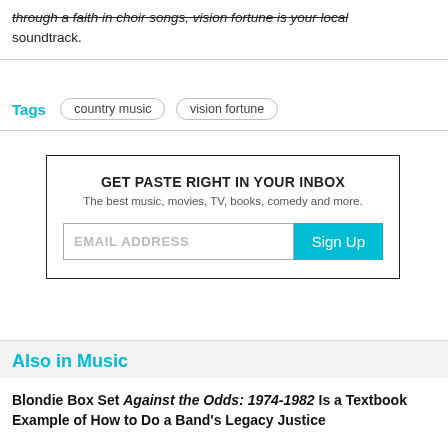through a faith in choir songs, vision fortune is your local soundtrack.
Tags  country music  vision fortune
[Figure (infographic): Newsletter signup box: GET PASTE RIGHT IN YOUR INBOX. The best music, movies, TV, books, comedy and more. Email address input and Sign Up button.]
Also in Music
Blondie Box Set Against the Odds: 1974-1982 Is a Textbook Example of How to Do a Band's Legacy Justice